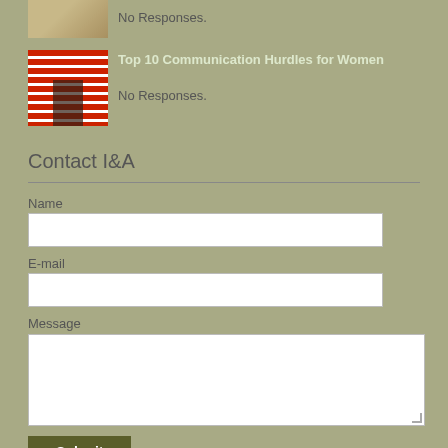[Figure (photo): Thumbnail image partially visible at top, appears to be a tan/beige colored image]
No Responses.
[Figure (photo): Thumbnail of a person walking up red torii gate stairs]
Top 10 Communication Hurdles for Women
No Responses.
Contact I&A
Name
E-mail
Message
Submit